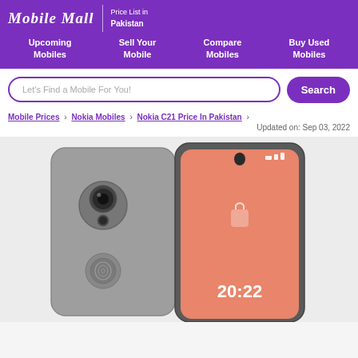Mobile Mall | Price List in Pakistan
Upcoming Mobiles
Sell Your Mobile
Compare Mobiles
Buy Used Mobiles
Let's Find a Mobile For You! Search
Mobile Prices > Nokia Mobiles > Nokia C21 Price In Pakistan >
Updated on: Sep 03, 2022
[Figure (photo): Nokia C21 smartphone shown from back (grey) and front (orange screen showing 20:22)]